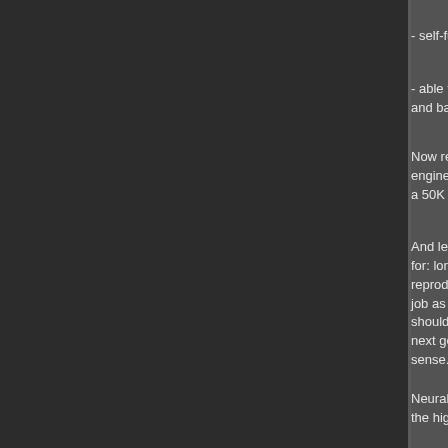- self-fue...
- able to ... and bact...
Now rem... engineer... a 50K co...
And let's... for: long ... reproduc... job as fa... should n... next gen... sense.
Neural d... the highe... network.... connecti... able to s... optimize... possible...
Photosyn... energy f... there wo... around w...
("leavesa... Eating o... because...